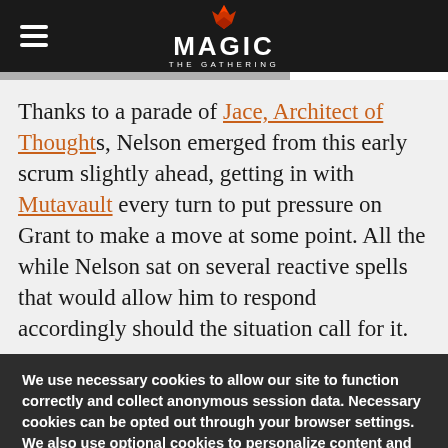Magic: The Gathering
Thanks to a parade of Jace, Architect of Thoughts, Nelson emerged from this early scrum slightly ahead, getting in with Mutavault every turn to put pressure on Grant to make a move at some point. All the while Nelson sat on several reactive spells that would allow him to respond accordingly should the situation call for it.
We use necessary cookies to allow our site to function correctly and collect anonymous session data. Necessary cookies can be opted out through your browser settings. We also use optional cookies to personalize content and ads, provide social medial features and analyze web traffic. By clicking "OK, I agree," you consent to optional cookies. (Learn more about cookies.)
OK, I agree   No, thanks